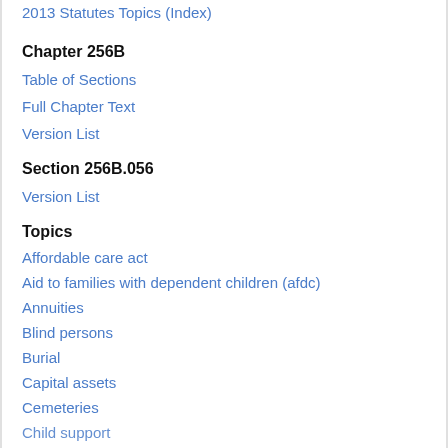2013 Statutes Topics (Index)
Chapter 256B
Table of Sections
Full Chapter Text
Version List
Section 256B.056
Version List
Topics
Affordable care act
Aid to families with dependent children (afdc)
Annuities
Blind persons
Burial
Capital assets
Cemeteries
Child support